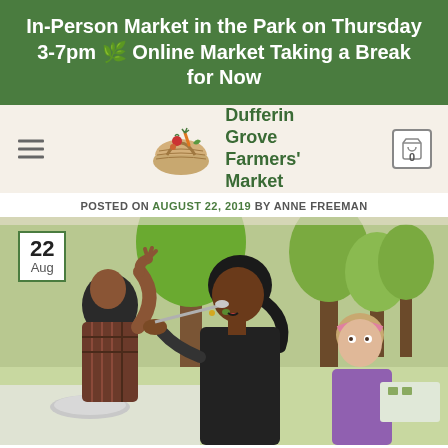In-Person Market in the Park on Thursday 3-7pm 🌿 Online Market Taking a Break for Now
[Figure (logo): Dufferin Grove Farmers' Market logo with basket of vegetables illustration]
POSTED ON AUGUST 22, 2019 BY ANNE FREEMAN
[Figure (photo): Outdoor farmers market scene with people tasting food. A woman feeds another woman while a young girl looks on. Trees and park visible in background. Date badge shows 22 Aug.]